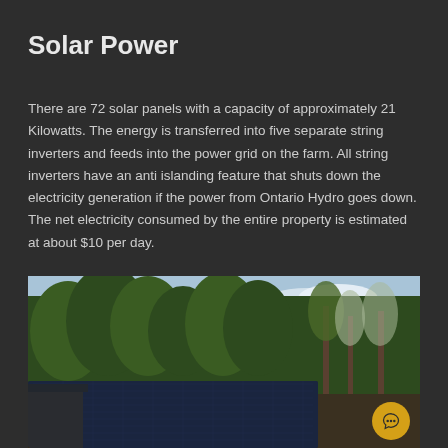Solar Power
There are 72 solar panels with a capacity of approximately 21 Kilowatts. The energy is transferred into five separate string inverters and feeds into the power grid on the farm. All string inverters have an anti islanding feature that shuts down the electricity generation if the power from Ontario Hydro goes down. The net electricity consumed by the entire property is estimated at about $10 per day.
[Figure (photo): Solar panels mounted on a structure with trees and a partly cloudy sky in the background. A chat bubble icon appears in the bottom right corner.]